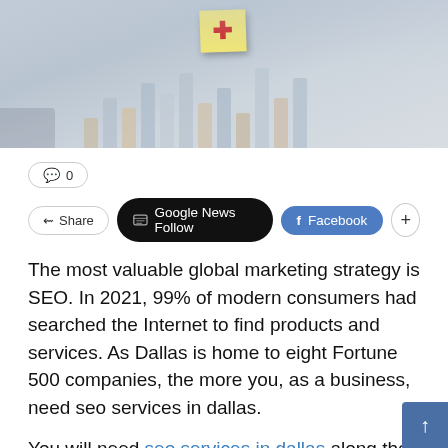[Figure (photo): Blurred office/finance photo showing bar charts and a yellow sticky note with a red cross/plus symbol, with a hand visible in the background]
💬 0
Share | Google News Follow | Facebook | +
The most valuable global marketing strategy is SEO. In 2021, 99% of modern consumers had searched the Internet to find products and services. As Dallas is home to eight Fortune 500 companies, the more you, as a business, need seo services in dallas.
You will need seo services in dallas along the way – whether you are a small business, medium enterprise, or large corporation. Your brand is non-